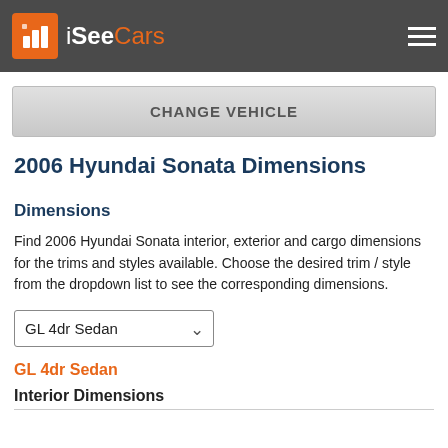iSeeCars
CHANGE VEHICLE
2006 Hyundai Sonata Dimensions
Dimensions
Find 2006 Hyundai Sonata interior, exterior and cargo dimensions for the trims and styles available. Choose the desired trim / style from the dropdown list to see the corresponding dimensions.
GL 4dr Sedan
GL 4dr Sedan
Interior Dimensions